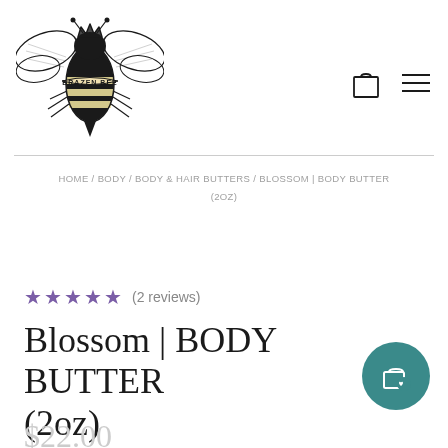[Figure (logo): Brazen Bee logo: detailed illustration of a bee with crown and banner reading BRAZEN BEE, black ink style]
[Figure (other): Navigation icons: shopping bag outline icon and hamburger menu icon]
HOME / BODY / BODY & HAIR BUTTERS / BLOSSOM | BODY BUTTER (2OZ)
★★★★★ (2 reviews)
Blossom | BODY BUTTER (2oz)
$22.00
[Figure (other): Teal circular floating action button with shopping bag and heart icon]